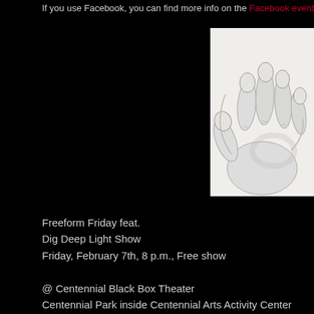If you use Facebook, you can find more info on the Facebook event p…
[Figure (illustration): Pencil sketch drawing of a hand with fingers curled/extended, rendered in graphite on white paper]
Freeform Friday feat.
Dig Deep Light Show
Friday, February 7th, 8 p.m., Free show
@ Centennial Black Box Theater
Centennial Park inside Centennial Arts Activity Center
On 27th Ave, the next building after Springwater Supper Club